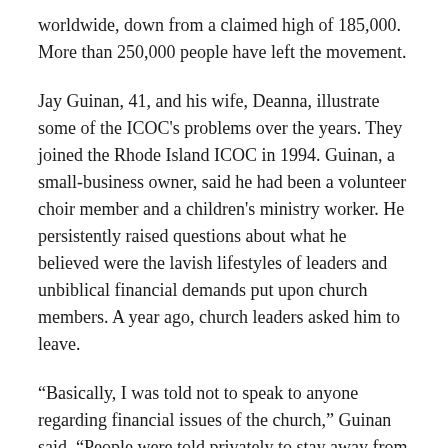worldwide, down from a claimed high of 185,000. More than 250,000 people have left the movement.
Jay Guinan, 41, and his wife, Deanna, illustrate some of the ICOC's problems over the years. They joined the Rhode Island ICOC in 1994. Guinan, a small-business owner, said he had been a volunteer choir member and a children's ministry worker. He persistently raised questions about what he believed were the lavish lifestyles of leaders and unbiblical financial demands put upon church members. A year ago, church leaders asked him to leave.
“Basically, I was told not to speak to anyone regarding financial issues of the church,” Guinan said. “People were told privately to stay away from us.”
Last June, the Guinans started a small Bible study after